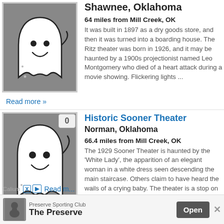[Figure (illustration): Ghost cartoon illustration on gray background for top listing (Shawnee, Oklahoma)]
Shawnee, Oklahoma
64 miles from Mill Creek, OK
It was built in 1897 as a dry goods store, and then it was turned into a boarding house. The Ritz theater was born in 1926, and it may be haunted by a 1900s projectionist named Leo Montgomery who died of a heart attack during a movie showing. Flickering lights ...
Read more »
[Figure (illustration): Ghost cartoon illustration on gray background for bottom listing (Historic Sooner Theater, Norman, Oklahoma)]
Historic Sooner Theater
Norman, Oklahoma
66.4 miles from Mill Creek, OK
The 1929 Sooner Theater is haunted by the 'White Lady', the apparition of an elegant woman in a white dress seen descending the main staircase. Others claim to have heard the wails of a crying baby. The theater is a stop on the local ghost tour. (Submitted by
Calium
Read m...
[Figure (infographic): Ad banner for Preserve Sporting Club - The Preserve with Open button and close X]